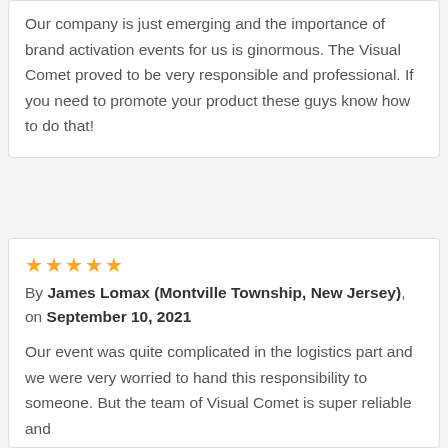Our company is just emerging and the importance of brand activation events for us is ginormous. The Visual Comet proved to be very responsible and professional. If you need to promote your product these guys know how to do that!
★★★★★ By James Lomax (Montville Township, New Jersey), on September 10, 2021
Our event was quite complicated in the logistics part and we were very worried to hand this responsibility to someone. But the team of Visual Comet is super reliable and